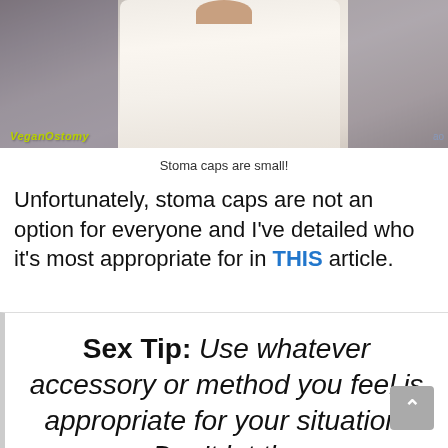[Figure (photo): Photo of a person wearing a white/light-colored top, showing their torso. Watermark 'VeganOstomy' in yellow-green text bottom left, 'ao' text bottom right.]
Stoma caps are small!
Unfortunately, stoma caps are not an option for everyone and I've detailed who it's most appropriate for in THIS article.
Sex Tip: Use whatever accessory or method you feel is appropriate for your situation! Don't let the